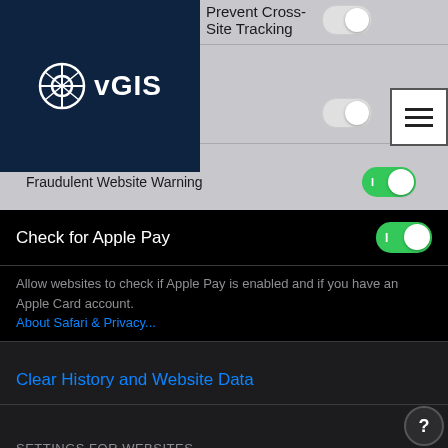[Figure (screenshot): iOS Safari Settings screenshot showing privacy and website settings. Top gray section shows toggle switches for Prevent Cross-Site Tracking (off), Cookies (off), and Fraudulent Website Warning (on). Dark section shows Check for Apple Pay (on), descriptive text about Apple Pay, About Safari & Privacy link, Clear History and Website Data button, Settings for Websites section header, Page Zoom row, Request Desktop Website row (highlighted with red border), and Reader row.]
Prevent Cross-Site Tracking
Cookies
Fraudulent Website Warning
Check for Apple Pay
Allow websites to check if Apple Pay is enabled and if you have an Apple Card account.
About Safari & Privacy...
Clear History and Website Data
SETTINGS FOR WEBSITES
Page Zoom
Request Desktop Website
Reader